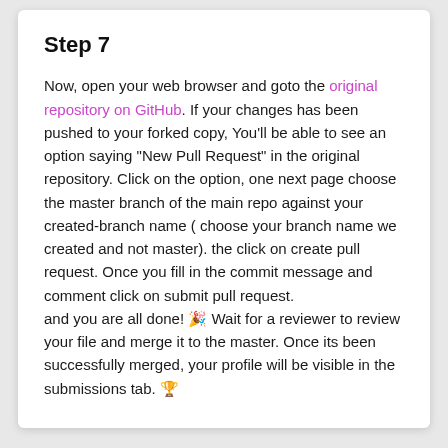Step 7
Now, open your web browser and goto the original repository on GitHub. If your changes has been pushed to your forked copy, You'll be able to see an option saying "New Pull Request" in the original repository. Click on the option, one next page choose the master branch of the main repo against your created-branch name ( choose your branch name we created and not master). the click on create pull request. Once you fill in the commit message and comment click on submit pull request.
and you are all done! 🎉 Wait for a reviewer to review your file and merge it to the master. Once its been successfully merged, your profile will be visible in the submissions tab. 🏆